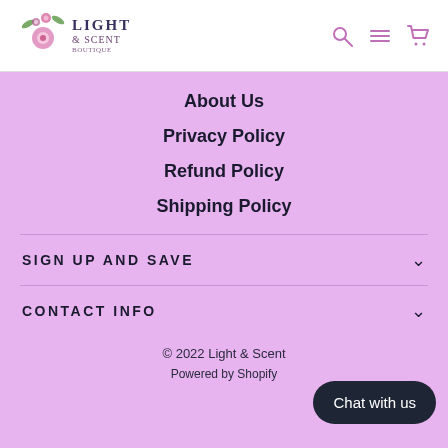[Figure (logo): Light & Scent logo with floral illustration, pink and purple flowers]
[Figure (other): Navigation icons: search, hamburger menu, cart in purple/mauve color]
About Us
Privacy Policy
Refund Policy
Shipping Policy
SIGN UP AND SAVE
CONTACT INFO
© 2022 Light & Scent
Powered by Shopify
[Figure (other): Chat with us button, dark rounded rectangle]